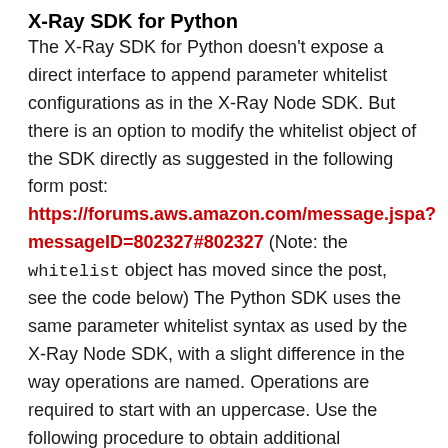X-Ray SDK for Python
The X-Ray SDK for Python doesn't expose a direct interface to append parameter whitelist configurations as in the X-Ray Node SDK. But there is an option to modify the whitelist object of the SDK directly as suggested in the following form post: https://forums.aws.amazon.com/message.jspa?messageID=802327#802327 (Note: the whitelist object has moved since the post, see the code below) The Python SDK uses the same parameter whitelist syntax as used by the X-Ray Node SDK, with a slight difference in the way operations are named. Operations are required to start with an uppercase. Use the following procedure to obtain additional